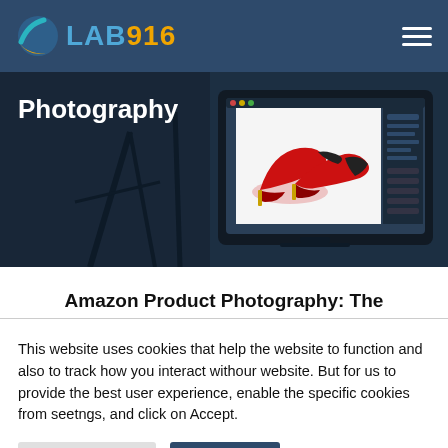[Figure (logo): LAB916 logo with globe icon in teal/orange on dark blue header bar]
[Figure (photo): Hero image showing a photo editing studio scene with a monitor displaying red high-heel shoes on white background, dark moody backdrop with photography equipment]
Amazon Product Photography: The
This website uses cookies that help the website to function and also to track how you interact withour website. But for us to provide the best user experience, enable the specific cookies from seetngs, and click on Accept.